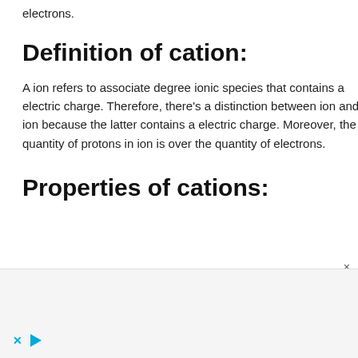electrons.
Definition of cation:
A ion refers to associate degree ionic species that contains a electric charge. Therefore, there’s a distinction between ion and ion because the latter contains a electric charge. Moreover, the quantity of protons in ion is over the quantity of electrons.
Properties of cations: